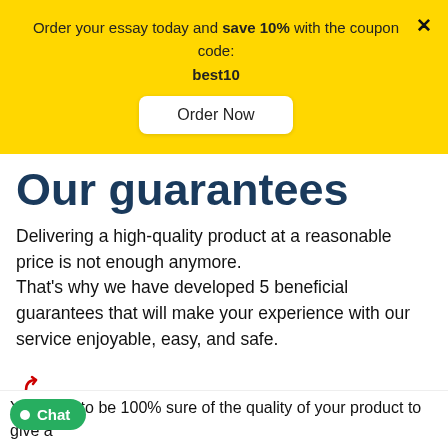Order your essay today and save 10% with the coupon code: best10
Order Now
Our guarantees
Delivering a high-quality product at a reasonable price is not enough anymore. That's why we have developed 5 beneficial guarantees that will make your experience with our service enjoyable, easy, and safe.
[Figure (illustration): Money-back guarantee icon: a cash/bill icon with circular arrows indicating refund]
Money-back guarantee
You have to be 100% sure of the quality of your product to give a
Chat